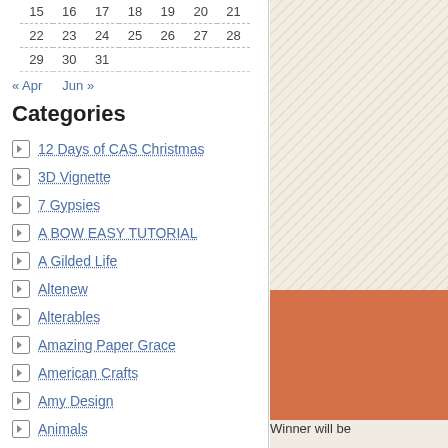| 15 | 16 | 17 | 18 | 19 | 20 | 21 |
| 22 | 23 | 24 | 25 | 26 | 27 | 28 |
| 29 | 30 | 31 |
« Apr   Jun »
Categories
12 Days of CAS Christmas
3D Vignette
7 Gypsies
A BOW EASY TUTORIAL
A Gilded Life
Altenew
Alterables
Amazing Paper Grace
American Crafts
Amy Design
Animals
Anna Griffin
[Figure (photo): Photo showing text '2024 Summer Lovers' on textured background with orange/terracotta geometric shape]
Winner will be